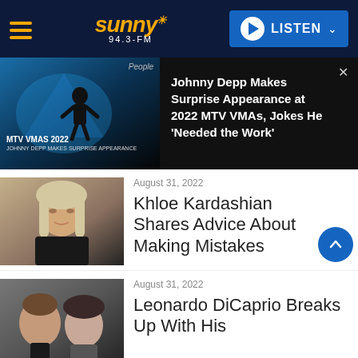sunny 94.3-FM | LISTEN
[Figure (screenshot): Video thumbnail: MTV VMAs 2022, Johnny Depp makes surprise appearance, figure in dark costume on stage with blue lighting]
Johnny Depp Makes Surprise Appearance at 2022 MTV VMAs, Jokes He 'Needed the Work'
[Figure (photo): Photo of Khloe Kardashian, blonde hair, dark outfit]
August 31, 2022
Khloe Kardashian Shares Advice About Making Mistakes
[Figure (photo): Photo of Leonardo DiCaprio and a young brunette woman]
August 31, 2022
Leonardo DiCaprio Breaks Up With His